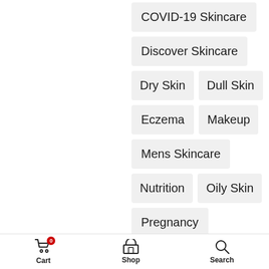COVID-19 Skincare
Discover Skincare
Dry Skin
Dull Skin
Eczema
Makeup
Mens Skincare
Nutrition
Oily Skin
Pregnancy
Psoriasis
Rosacea
Cart  Shop  Search